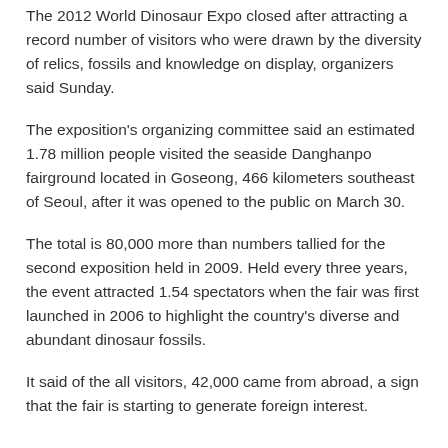The 2012 World Dinosaur Expo closed after attracting a record number of visitors who were drawn by the diversity of relics, fossils and knowledge on display, organizers said Sunday.
The exposition's organizing committee said an estimated 1.78 million people visited the seaside Danghanpo fairground located in Goseong, 466 kilometers southeast of Seoul, after it was opened to the public on March 30.
The total is 80,000 more than numbers tallied for the second exposition held in 2009. Held every three years, the event attracted 1.54 spectators when the fair was first launched in 2006 to highlight the country's diverse and abundant dinosaur fossils.
It said of the all visitors, 42,000 came from abroad, a sign that the fair is starting to generate foreign interest.
This year's fair was held under the theme "Wakening the Dinosaur by